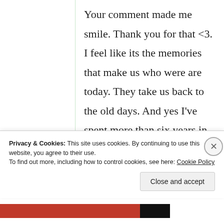Your comment made me smile. Thank you for that <3. I feel like its the memories that make us who were are today. They take us back to the old days. And yes I've spent more than six years in Pakistan, and I do speak Urdu as well as Punjabi
Privacy & Cookies: This site uses cookies. By continuing to use this website, you agree to their use. To find out more, including how to control cookies, see here: Cookie Policy